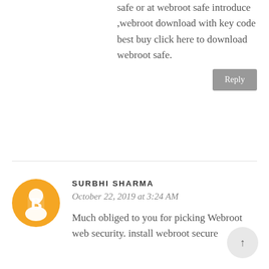safe or at webroot safe introduce ,webroot download with key code best buy click here to download webroot safe.
Reply
SURBHI SHARMA
October 22, 2019 at 3:24 AM
Much obliged to you for picking Webroot web security. install webroot secure